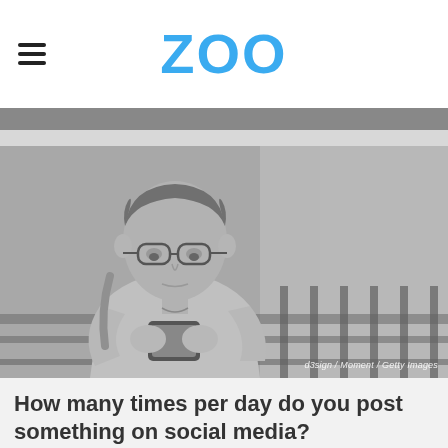ZOO
[Figure (photo): Grayscale photo of a young man wearing glasses and looking down at his smartphone, leaning against a railing. Photo credit: d3sign / Moment / Getty Images]
d3sign / Moment / Getty Images
How many times per day do you post something on social media?